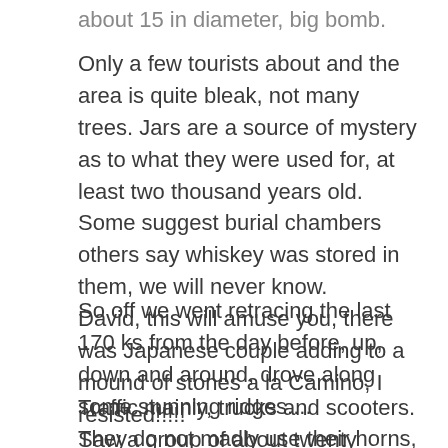about 15 in diameter, big bomb.
Only a few tourists about and the area is quite bleak, not many trees. Jars are a source of mystery as to what they were used for, at least two thousand years old. Some suggest burial chambers others say whiskey was stored in them, we will never know.
David, this will amuse you, there was Japanese couple adding to a mound of stones a la Camino, I resisted!!!!!
So off we went retracing the last 170 ks from the day before, up, down and around, drove along some stunning ridges....
They do not madly use their horns, just a discreet beep beep.
Traffic mainly, trucks and scooters. Saw a group of about twenty Europeans on big bikes. Saw a few mad Europeans on cycles, but no gear so obviously a support